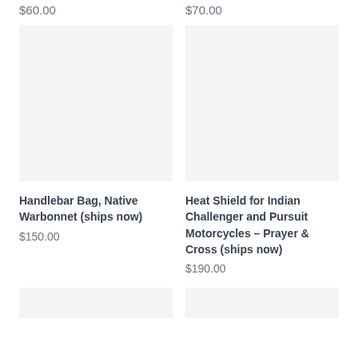$60.00
$70.00
[Figure (photo): Product image placeholder for Handlebar Bag, Native Warbonnet — light gray rectangle]
[Figure (photo): Product image placeholder for Heat Shield for Indian Challenger and Pursuit Motorcycles – Prayer & Cross — light gray rectangle]
Handlebar Bag, Native Warbonnet (ships now)
$150.00
Heat Shield for Indian Challenger and Pursuit Motorcycles – Prayer & Cross (ships now)
$190.00
[Figure (photo): Bottom left product image placeholder — light gray rectangle]
[Figure (photo): Bottom right product image placeholder — light gray rectangle]